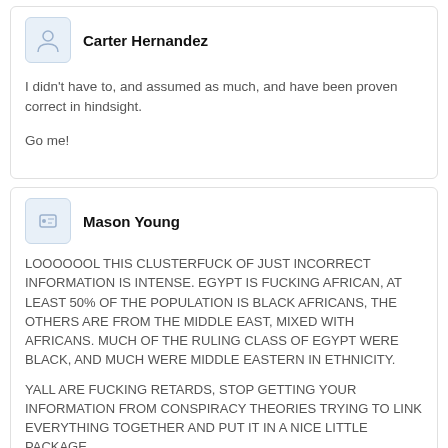Carter Hernandez
I didn't have to, and assumed as much, and have been proven correct in hindsight.

Go me!
Mason Young
LOOOOOOL THIS CLUSTERFUCK OF JUST INCORRECT INFORMATION IS INTENSE. EGYPT IS FUCKING AFRICAN, AT LEAST 50% OF THE POPULATION IS BLACK AFRICANS, THE OTHERS ARE FROM THE MIDDLE EAST, MIXED WITH AFRICANS. MUCH OF THE RULING CLASS OF EGYPT WERE BLACK, AND MUCH WERE MIDDLE EASTERN IN ETHNICITY.
YALL ARE FUCKING RETARDS, STOP GETTING YOUR INFORMATION FROM CONSPIRACY THEORIES TRYING TO LINK EVERYTHING TOGETHER AND PUT IT IN A NICE LITTLE PACKAGE.
BTW AWFUL ATTEMPT TO DIVIDE US OP, GO TELL YOUR SUPERVISOR SOROS YOU NEED NEW TACTICS